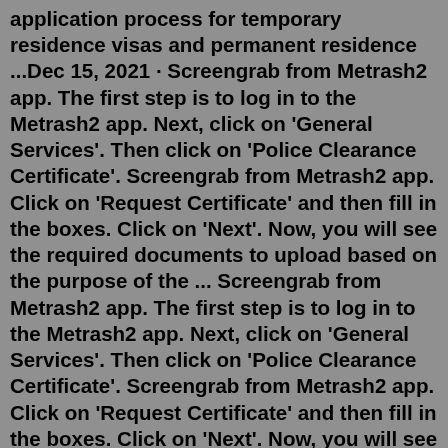application process for temporary residence visas and permanent residence ...Dec 15, 2021 · Screengrab from Metrash2 app. The first step is to log in to the Metrash2 app. Next, click on 'General Services'. Then click on 'Police Clearance Certificate'. Screengrab from Metrash2 app. Click on 'Request Certificate' and then fill in the boxes. Click on 'Next'. Now, you will see the required documents to upload based on the purpose of the ... Screengrab from Metrash2 app. The first step is to log in to the Metrash2 app. Next, click on 'General Services'. Then click on 'Police Clearance Certificate'. Screengrab from Metrash2 app. Click on 'Request Certificate' and then fill in the boxes. Click on 'Next'. Now, you will see the required documents to upload based on the purpose of the ...All applicants shall attend in person the Certificate of No Criminal Conviction Office, which is located at: 14/F, Arsenal House, Police Headquarters, 1 Arsenal Street, Wan Chai, Hong Kong. Operating hours for receiving applications with payment are: Monday - Friday, 8:00 a.m.-5:15 p.m.* *Payment with cash/d